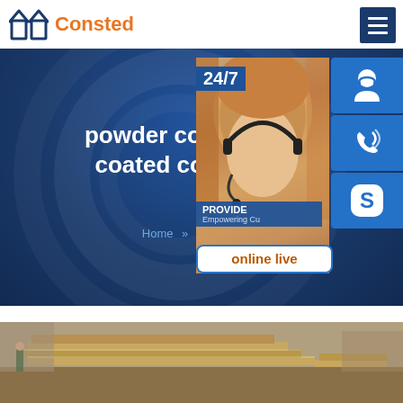[Figure (logo): Consted company logo with orange house icon and orange text]
[Figure (screenshot): Navigation menu hamburger button, dark blue background with three white lines]
powder coated spear coated corten steel
Home >> A283 steel
[Figure (photo): Customer support agent photo (woman with headset) with 24/7 label and online live button, and contact icons for phone and Skype]
[Figure (photo): Steel plates stacked outdoors at industrial yard]